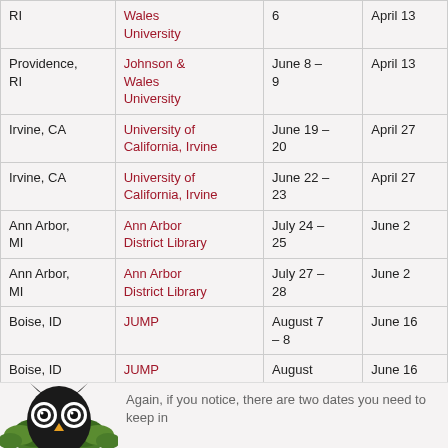| Location | Venue | Dates | Deadline |
| --- | --- | --- | --- |
| RI | Johnson & Wales University | June 6 | April 13 |
| Providence, RI | Johnson & Wales University | June 8 – 9 | April 13 |
| Irvine, CA | University of California, Irvine | June 19 – 20 | April 27 |
| Irvine, CA | University of California, Irvine | June 22 – 23 | April 27 |
| Ann Arbor, MI | Ann Arbor District Library | July 24 – 25 | June 2 |
| Ann Arbor, MI | Ann Arbor District Library | July 27 – 28 | June 2 |
| Boise, ID | JUMP | August 7 – 8 | June 16 |
| Boise, ID | JUMP | August 10 – 11 | June 16 |
[Figure (illustration): Owl face with green leaves/feathers, black and white illustration]
Again, if you notice, there are two dates you need to keep in